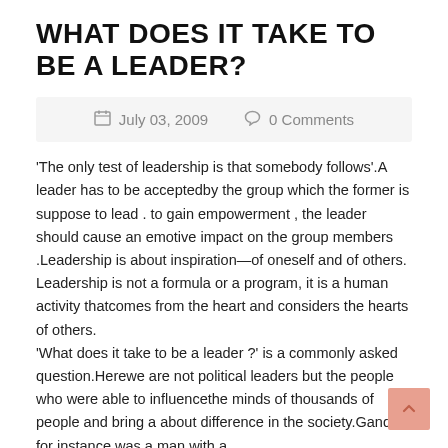WHAT DOES IT TAKE TO BE A LEADER?
July 03, 2009   0 Comments
'The only test of leadership is that somebody follows'.A leader has to be acceptedby the group which the former is suppose to lead . to gain empowerment , the leader should cause an emotive impact on the group members .Leadership is about inspiration—of oneself and of others. Leadership is not a formula or a program, it is a human activity thatcomes from the heart and considers the hearts of others.
'What does it take to be a leader ?' is a commonly asked question.Herewe are not political leaders but the people who were able to influencethe minds of thousands of people and bring a about difference in the society.Gandhi for instance was a man with a